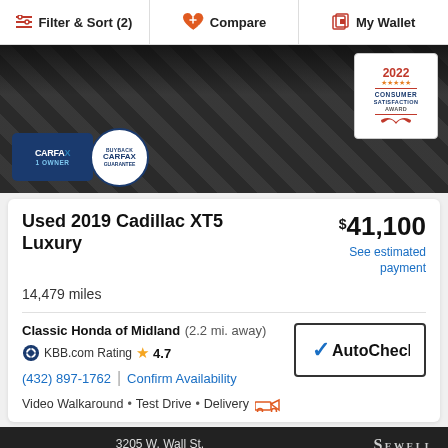Filter & Sort (2)   Compare   My Wallet
[Figure (photo): Car listing photo showing top of vehicle on checkered floor, with Carfax 1-Owner badge, Carfax Buyback Guarantee badge, and 2022 Consumer Satisfaction Award badge]
Used 2019 Cadillac XT5 Luxury
$41,100
See estimated payment
14,479 miles
Classic Honda of Midland  (2.2 mi. away)
KBB.com Rating  4.7
(432) 897-1762  |  Confirm Availability
[Figure (logo): AutoCheck logo in bordered box]
Video Walkaround  •  Test Drive  •  Delivery
LOCATED AT:  3205 W. Wall St.  Midland, TX
[Figure (photo): Bottom portion showing dealership exterior with sky background, vertical poles, Sewell logo with heart, and X close button]